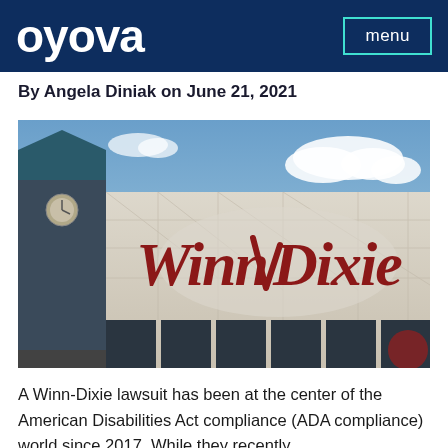oyova  menu
By Angela Diniak on June 21, 2021
[Figure (photo): Exterior photo of a Winn-Dixie grocery store showing the red Winn-Dixie sign on a beige/tan facade building with a blue sky in the background.]
A Winn-Dixie lawsuit has been at the center of the American Disabilities Act compliance (ADA compliance) world since 2017. While they recently